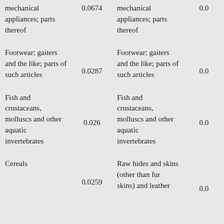| Description | Value | Description | Value |
| --- | --- | --- | --- |
| mechanical appliances; parts thereof | 0.0674 | mechanical appliances; parts thereof | 0.0... |
| Footwear; gaiters and the like; parts of such articles | 0.0287 | Footwear; gaiters and the like; parts of such articles | 0.0... |
| Fish and crustaceans, molluscs and other aquatic invertebrates | 0.026 | Fish and crustaceans, molluscs and other aquatic invertebrates | 0.0... |
| Cereals | 0.0259 | Raw hides and skins (other than fur skins) and leather | 0.0... |